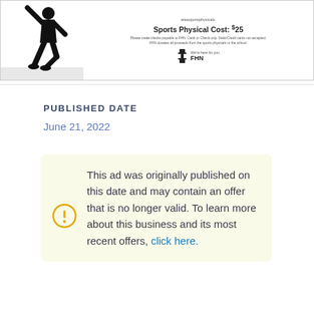[Figure (illustration): Ad image showing a sports silhouette figure on left with FHN sports physical advertisement text on right, including cost of $25 and FHN logo]
PUBLISHED DATE
June 21, 2022
This ad was originally published on this date and may contain an offer that is no longer valid. To learn more about this business and its most recent offers, click here.